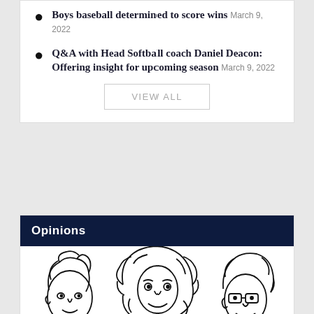Boys baseball determined to score wins March 9, 2022
Q&A with Head Softball coach Daniel Deacon: Offering insight for upcoming season March 9, 2022
VIEW ALL
Opinions
[Figure (illustration): Three cartoon line-drawing faces/characters at the bottom of the page, partially visible]